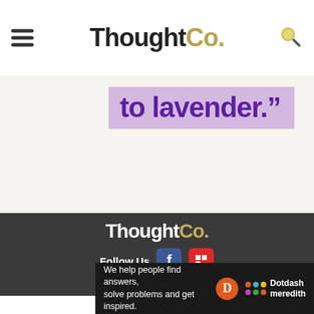ThoughtCo.
to lavender."
[Figure (logo): ThoughtCo. logo in white on dark background footer]
Follow Us
[Figure (logo): TRUSTe privacy badge]
We help people find answers, solve problems and get inspired. Dotdash meredith